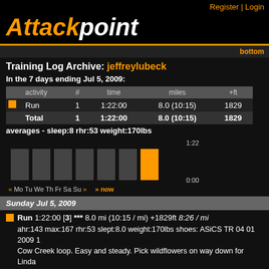Register | Login
Attackpoint
bottom
Training Log Archive: jeffreylubeck
In the 7 days ending Jul 5, 2009:
|  | activity | # | time | miles | +ft |
| --- | --- | --- | --- | --- | --- |
| [orange] | Run | 1 | 1:22:00 | 8.0 (10:15) | 1829 |
|  | Total | 1 | 1:22:00 | 8.0 (10:15) | 1829 |
averages - sleep:8 rhr:53 weight:170lbs
[Figure (bar-chart): Weekly activity bar chart]
« Mo Tu We Th Fr Sa » » now
Sunday Jul 5, 2009
Run 1:22:00 [3] *** 8.0 mi (10:15 / mi) +1829ft 8:26 / mi
ahr:143 max:167 rhr:53 slept:8.0 weight:170lbs shoes: ASiCS TR 04 01 2009 1
Cow Creek loop. Easy and steady. Pick wildflowers on way down for Linda
Earlier...